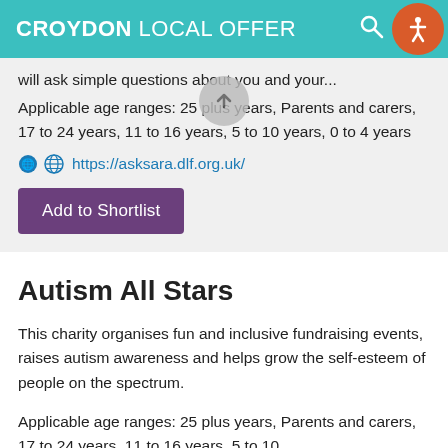CROYDON LOCAL OFFER
will ask simple questions about you and your...
Applicable age ranges: 25 plus years, Parents and carers, 17 to 24 years, 11 to 16 years, 5 to 10 years, 0 to 4 years
https://asksara.dlf.org.uk/
Add to Shortlist
Autism All Stars
This charity organises fun and inclusive fundraising events, raises autism awareness and helps grow the self-esteem of people on the spectrum.
Applicable age ranges: 25 plus years, Parents and carers, 17 to 24 years, 11 to 16 years, 5 to 10